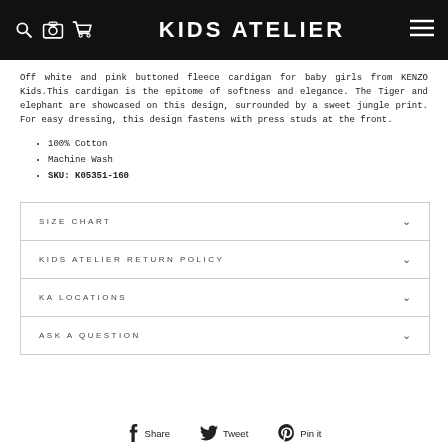KIDS ATELIER
Off white and pink buttoned fleece cardigan for baby girls from KENZO Kids. This cardigan is the epitome of softness and elegance. The Tiger and elephant are showcased on this design, surrounded by a sweet jungle print. For easy dressing, this design fastens with press studs at the front.
100% Cotton
Machine Wash
SKU: K05351-160
SIZE CHART
KIDS ATELIER RETURN POLICY
KA LOCATIONS
ASK A QUESTION
Share  Tweet  Pin it